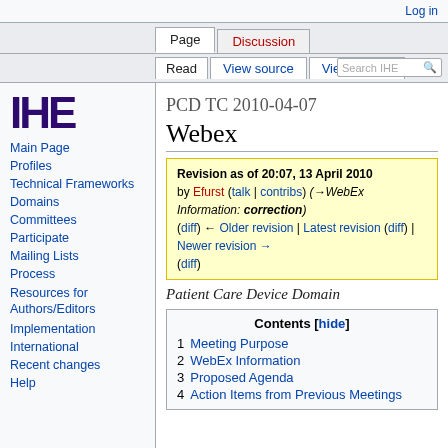Log in
Page | Discussion | Read | View source | View history | Search IHE
[Figure (logo): IHE logo - bold dark purple letters IHE]
PCD TC 2010-04-07 Webex
Revision as of 20:07, 13 April 2010 by Efurst (talk | contribs) (→WebEx Information: correction)
(diff) ← Older revision | Latest revision (diff) | Newer revision → (diff)
Patient Care Device Domain
Contents [hide]
1 Meeting Purpose
2 WebEx Information
3 Proposed Agenda
4 Action Items from Previous Meetings
Main Page
Profiles
Technical Frameworks
Domains
Committees
Participate
Mailing Lists
Process
Resources for Authors/Editors
Implementation
International
Recent changes
Help